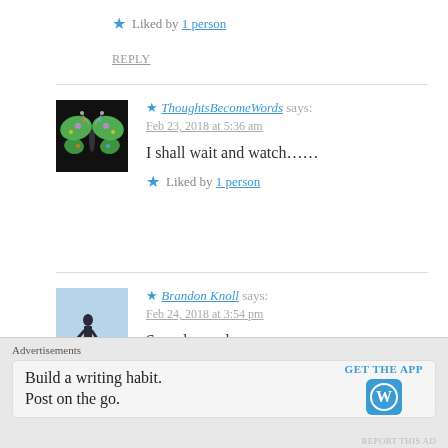★ Liked by 1 person
REPLY
★ ThoughtsBecomeWords says: Feb 23, 2018 at 5:36 am — I shall wait and watch……
★ Liked by 1 person
★ Brandon Knoll says: Feb 24, 2018 at 3:54 pm — Sounds good……
😐
Advertisements
Build a writing habit. Post on the go. GET THE APP